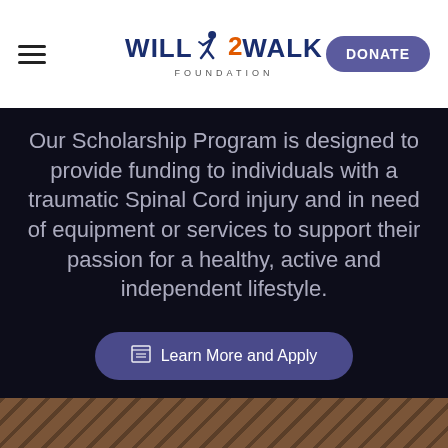Will2Walk Foundation — navigation bar with hamburger menu, logo, and DONATE button
Our Scholarship Program is designed to provide funding to individuals with a traumatic Spinal Cord injury and in need of equipment or services to support their passion for a healthy, active and independent lifestyle.
Learn More and Apply
[Figure (photo): Bottom strip showing a textured diagonal wood/railing surface in brown tones]